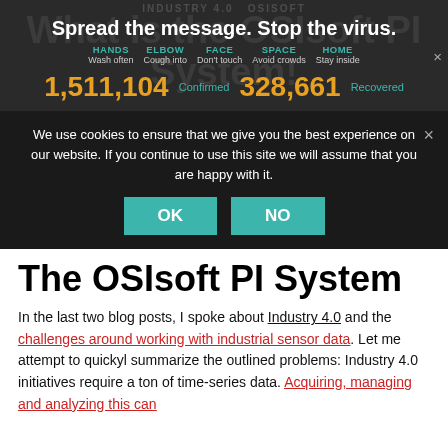INDUSTRY 4.0  OSISOFT
Spread the message. Stop the virus.
HANDS Wash often   ELBOW Cough into   FACE Don't touch   SPACE Avoid crowds   HOME Stay inside
What is the OSIsoft PI System?
1,511,104  Confirmed   328,661  Recovered
We use cookies to ensure that we give you the best experience on our website. If you continue to use this site we will assume that you are happy with it.
The OSIsoft PI System
In the last two blog posts, I spoke about Industry 4.0 and the challenges around working with industrial sensor data. Let me attempt to quickyl summarize the outlined problems: Industry 4.0 initiatives require a ton of time-series data. Acquiring, managing and analyzing this can be extremely challenging...